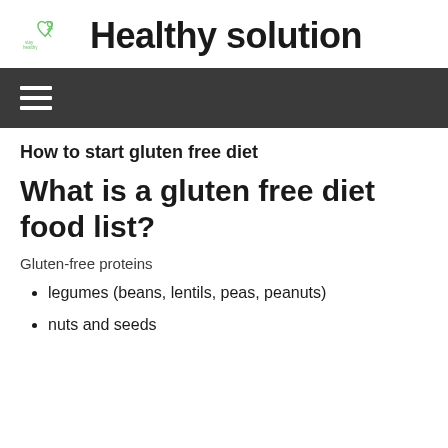Healthy solution
How to start gluten free diet
What is a gluten free diet food list?
Gluten-free proteins
legumes (beans, lentils, peas, peanuts)
nuts and seeds